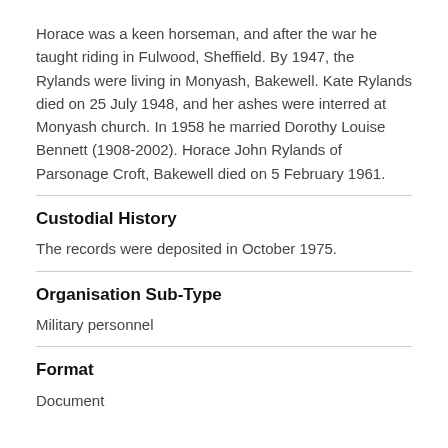Horace was a keen horseman, and after the war he taught riding in Fulwood, Sheffield. By 1947, the Rylands were living in Monyash, Bakewell. Kate Rylands died on 25 July 1948, and her ashes were interred at Monyash church. In 1958 he married Dorothy Louise Bennett (1908-2002). Horace John Rylands of Parsonage Croft, Bakewell died on 5 February 1961.
Custodial History
The records were deposited in October 1975.
Organisation Sub-Type
Military personnel
Format
Document